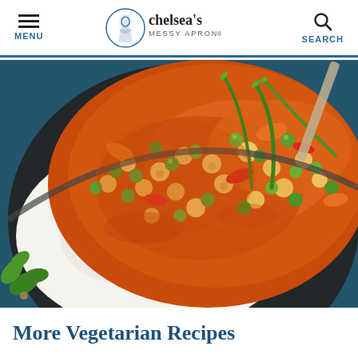MENU | chelsea's MESSY APRON® | SEARCH
[Figure (photo): Overhead close-up of a bowl of vegetarian curry with chickpeas, green peas, and vegetables in an orange-red sauce served over white rice, on a dark blue background with green herbs]
More Vegetarian Recipes